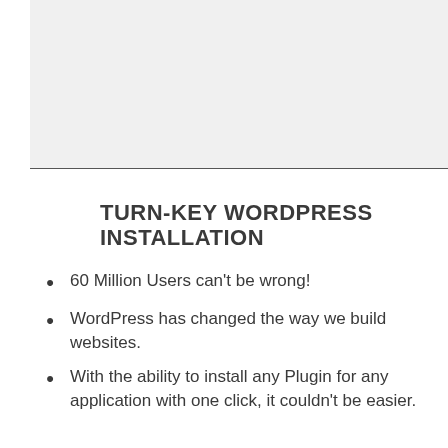[Figure (other): Gray rectangular background block at the top of the page]
TURN-KEY WORDPRESS INSTALLATION
60 Million Users can't be wrong!
WordPress has changed the way we build websites.
With the ability to install any Plugin for any application with one click, it couldn't be easier.